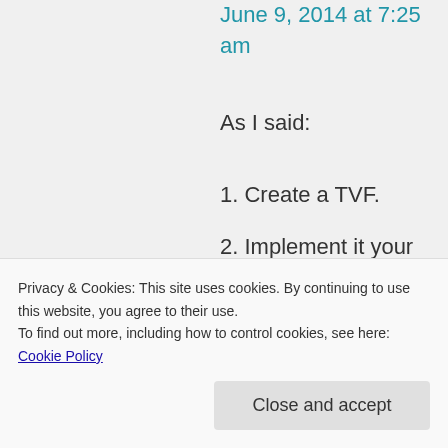June 9, 2014 at 7:25 am
As I said:
1. Create a TVF.
2. Implement it your way.
3. Implement it in EDMX
Write the following 2
Privacy & Cookies: This site uses cookies. By continuing to use this website, you agree to their use.
To find out more, including how to control cookies, see here: Cookie Policy
Close and accept